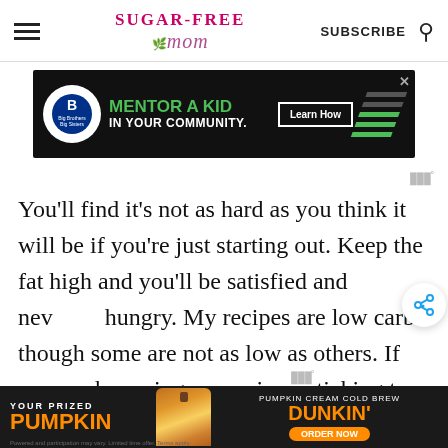SUGAR-FREE MOM — SUBSCRIBE
[Figure (screenshot): Big Brothers Big Sisters advertisement: MENTOR A KID IN YOUR COMMUNITY. Learn How button. Dark background with green stripes.]
You'll find it's not as hard as you think it will be if you're just starting out. Keep the fat high and you'll be satisfied and never hungry. My recipes are low carb though some are not as low as others. If you are browsing my recipes, sticking to less than 10 net carbs is firm to
[Figure (screenshot): Dunkin' Pumpkin Cream Cold Brew advertisement: YOUR PRIZED PUMPKIN. ORDER NOW button. Dark background.]